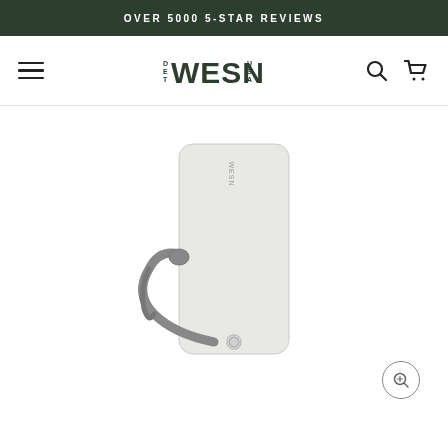OVER 5000 5-STAR REVIEWS
[Figure (logo): WESN DET USA brand logo in dark green bold lettering with hamburger menu on left and search/cart icons on right]
[Figure (photo): A white rectangular luggage tag with WESN branding and a gray leather strap looped through a metal grommet at the bottom, photographed on white background]